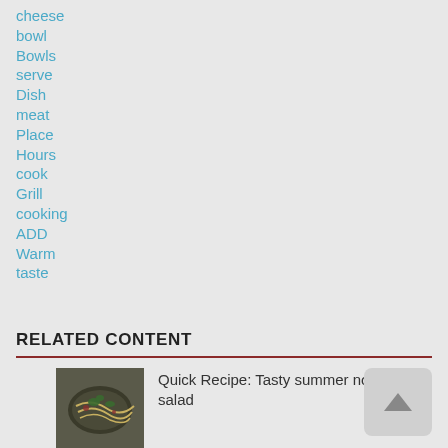cheese
bowl
Bowls
serve
Dish
meat
Place
Hours
cook
Grill
cooking
ADD
Warm
taste
RELATED CONTENT
Quick Recipe: Tasty summer noodle salad
[Figure (photo): A bowl of noodle salad dish]